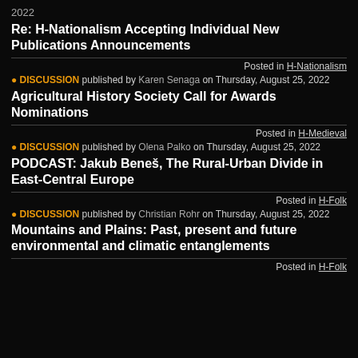2022
Re: H-Nationalism Accepting Individual New Publications Announcements
Posted in H-Nationalism
DISCUSSION published by Karen Senaga on Thursday, August 25, 2022
Agricultural History Society Call for Awards Nominations
Posted in H-Medieval
DISCUSSION published by Olena Palko on Thursday, August 25, 2022
PODCAST: Jakub Beneš, The Rural-Urban Divide in East-Central Europe
Posted in H-Folk
DISCUSSION published by Christian Rohr on Thursday, August 25, 2022
Mountains and Plains: Past, present and future environmental and climatic entanglements
Posted in H-Folk